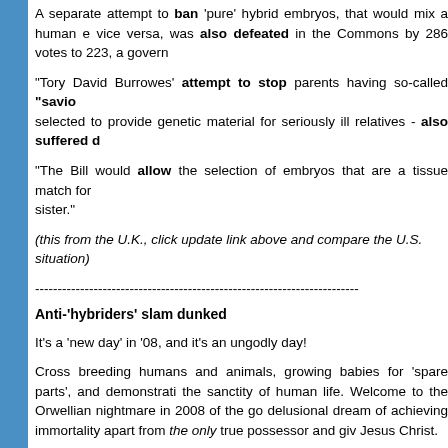A separate attempt to ban 'pure' hybrid embryos, that would mix a human egg or sperm with that of an animal and vice versa, was also defeated in the Commons by 286 votes to 223, a government defeat.
Tory David Burrowes' attempt to stop parents having so-called "savior siblings" - babies specially selected to provide genetic material for seriously ill relatives - also suffered d...
"The Bill would allow the selection of embryos that are a tissue match for a sick brother or sister."
(this from the U.K., click update link above and compare the U.S. situation)
------------------------------------------------------------------------
Anti-'hybriders' slam dunked
It's a 'new day' in '08, and it's an ungodly day!
Cross breeding humans and animals, growing babies for 'spare parts', and demonstrating an utter disregard for the sanctity of human life. Welcome to the Orwellian nightmare in 2008 of the godless, in their delusional dream of achieving immortality apart from the only true possessor and giver of eternal life - Jesus Christ.
Romans 6:23 For the wages of sin is death; but the gift of God is eternal life through Jesus Christ our Lord.
Not for a moment is there any sort of benevolent humanitarian agenda driving this crowd. On the contrary, it is not benevolent but it is malevolent. A vile attempt by haters of God who refuse to submit to Him; not even as a creature giving recognition unto his Creator; a attempt to 'run' around Him in an endeavor to ultimately establish themselves in His stead as...